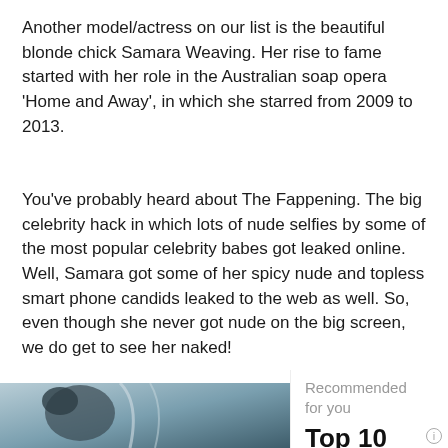Another model/actress on our list is the beautiful blonde chick Samara Weaving. Her rise to fame started with her role in the Australian soap opera 'Home and Away', in which she starred from 2009 to 2013.
You've probably heard about The Fappening. The big celebrity hack in which lots of nude selfies by some of the most popular celebrity babes got leaked online. Well, Samara got some of her spicy nude and topless smart phone candids leaked to the web as well. So, even though she never got nude on the big screen, we do get to see her naked!
[Figure (photo): Partial photo of a woman leaning back, appears to be outdoors near water, image is partially obscured by an advertisement overlay]
Recommended for you
Top 10 Biggest Boo...
www.t10ranker.com